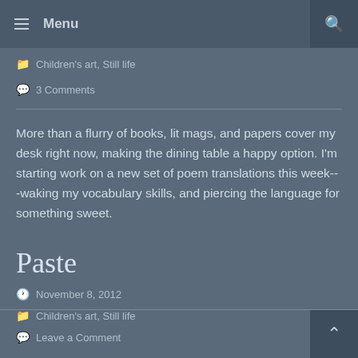Menu
Children's art, Still life
3 Comments
More than a flurry of books, lit mags, and papers cover my desk right now, making the dining table a happy option. I'm starting work on a new set of poem translations this week---waking my vocabulary skills, and piercing the language for something sweet.
Paste
November 8, 2012
Children's art, Still life
Leave a Comment